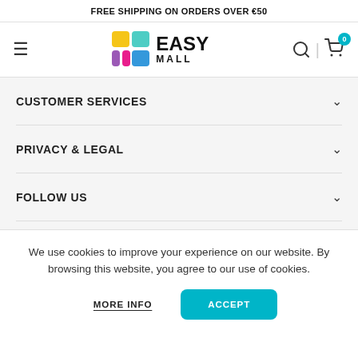FREE SHIPPING ON ORDERS OVER €50
[Figure (logo): EasyMall logo with colorful grid icon and EASY MALL text]
CUSTOMER SERVICES
PRIVACY & LEGAL
FOLLOW US
We use cookies to improve your experience on our website. By browsing this website, you agree to our use of cookies.
MORE INFO  ACCEPT